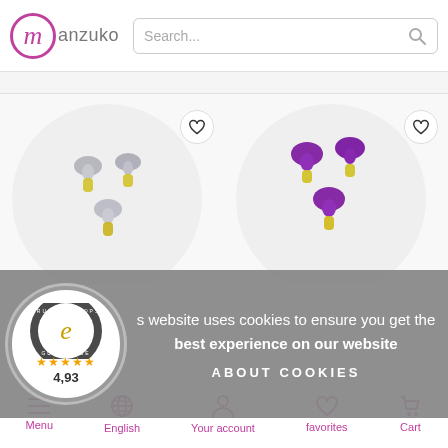[Figure (screenshot): Manzuko e-commerce website header with logo and search bar]
[Figure (photo): Gray tassel/fabric charm jewelry product on white circular background with heart/favorite button]
[Figure (photo): Purple tassel/fabric charm jewelry product on white circular background with heart/favorite button]
[Figure (logo): Trusted Shops guarantee badge with 4,93 star rating]
s website uses cookies to ensure you get the best experience on our website
ABOUT COOKIES
Menu
English
Your account
favorites
Cart